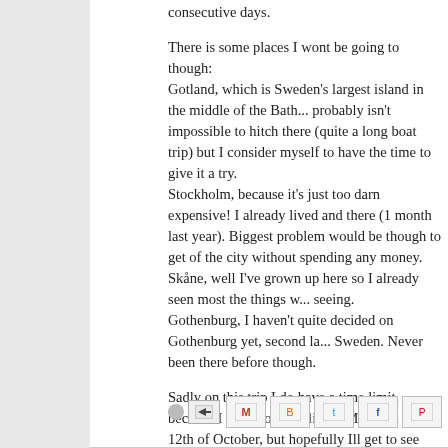consecutive days.

There is some places I wont be going to though:
Gotland, which is Sweden's largest island in the middle of the Bat... probably isn't impossible to hitch there (quite a long boat trip) but I consider myself to have the time to give it a try.
Stockholm, because it's just too darn expensive! I already lived an... there (1 month last year). Biggest problem would be though to get... of the city without spending any money.
Skåne, well I've grown up here so I already seen most the things w... seeing.
Gothenburg, I haven't quite decided on Gothenburg yet, second la... Sweden. Never been there before though.

Sadly on this trip I do have a time limit, because I have booked fli... to Malaysia on the 12th of October, but hopefully Ill get to see ever... want by then.
Well that's it, I do have some more challenges to myself like I did c... trip, but I will keep these to myself because I'm not very good at fin... them :P
[Figure (other): Share icons row: an envelope/forward icon button, then Gmail, Blogger, Twitter, Facebook, and Pinterest share buttons]